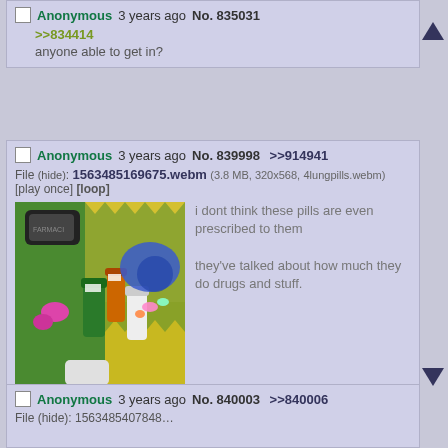Anonymous 3 years ago No. 835031
>>834414
anyone able to get in?
[Figure (screenshot): Forum post with image of prescription pill bottles scattered on colorful foam play mat tiles. Green, yellow, orange colors visible.]
Anonymous 3 years ago No. 839998 >>914941
File (hide): 1563485169675.webm (3.8 MB, 320x568, 4lungpills.webm) [play once] [loop]
i dont think these pills are even prescribed to them
they've talked about how much they do drugs and stuff.
Anonymous 3 years ago No. 840003 >>840006
File (hide): 1563485407848...